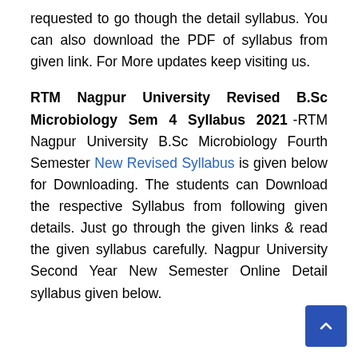requested to go though the detail syllabus. You can also download the PDF of syllabus from given link. For More updates keep visiting us.
RTM Nagpur University Revised B.Sc Microbiology Sem 4 Syllabus 2021 -RTM Nagpur University B.Sc Microbiology Fourth Semester New Revised Syllabus is given below for Downloading. The students can Download the respective Syllabus from following given details. Just go through the given links & read the given syllabus carefully. Nagpur University Second Year New Semester Online Detail syllabus given below.